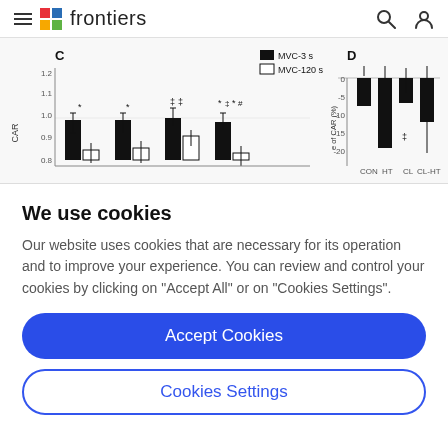frontiers
[Figure (grouped-bar-chart): Two grouped bar charts (C and D) showing CAR measurements. Chart C shows MVC-3s (black bars) and MVC-120s (white bars) across conditions. Chart D shows change of CAR (%) for CON, HT, CL, CL-HT conditions with negative values.]
We use cookies
Our website uses cookies that are necessary for its operation and to improve your experience. You can review and control your cookies by clicking on "Accept All" or on "Cookies Settings".
Accept Cookies
Cookies Settings